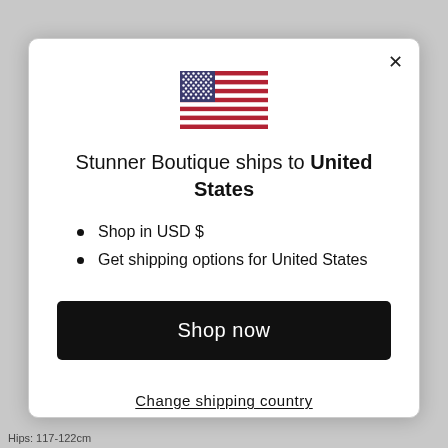[Figure (illustration): US flag emoji/icon]
Stunner Boutique ships to United States
Shop in USD $
Get shipping options for United States
Shop now
Change shipping country
Hips: 117-122cm